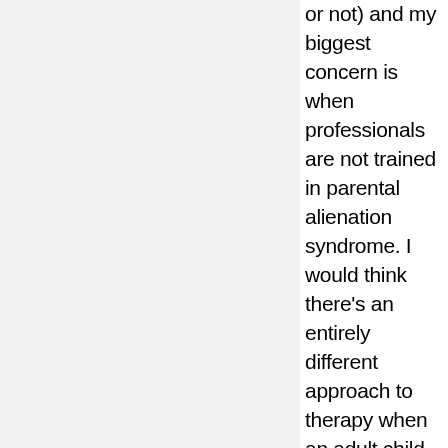or not) and my biggest concern is when professionals are not trained in parental alienation syndrome. I would think there's an entirely different approach to therapy when an adult child is the victim of parental alienation syndrome. My son also told me it was my daughter's psychiatrist who recommended having no contact with me. I certainly don't know if that's true or not, but if so, it's clear the psychiatrist hasn't a clue what's really going on for my daughter. In any event, I appreciated reading this post, Karen – it's nice to think of the